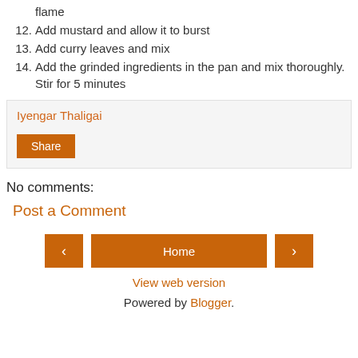flame
12. Add mustard and allow it to burst
13. Add curry leaves and mix
14. Add the grinded ingredients in the pan and mix thoroughly. Stir for 5 minutes
Iyengar Thaligai
Share
No comments:
Post a Comment
Home
View web version
Powered by Blogger.